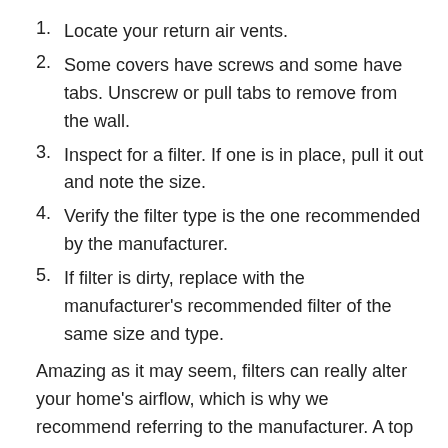1. Locate your return air vents.
2. Some covers have screws and some have tabs. Unscrew or pull tabs to remove from the wall.
3. Inspect for a filter. If one is in place, pull it out and note the size.
4. Verify the filter type is the one recommended by the manufacturer.
5. If filter is dirty, replace with the manufacturer's recommended filter of the same size and type.
Amazing as it may seem, filters can really alter your home's airflow, which is why we recommend referring to the manufacturer. A top tier HEPA